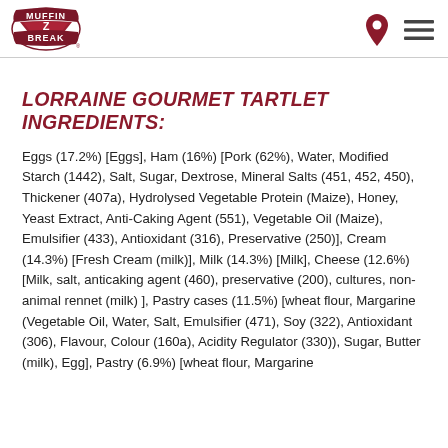Muffin Break
LORRAINE GOURMET TARTLET INGREDIENTS:
Eggs (17.2%) [Eggs], Ham (16%) [Pork (62%), Water, Modified Starch (1442), Salt, Sugar, Dextrose, Mineral Salts (451, 452, 450), Thickener (407a), Hydrolysed Vegetable Protein (Maize), Honey, Yeast Extract, Anti-Caking Agent (551), Vegetable Oil (Maize), Emulsifier (433), Antioxidant (316), Preservative (250)], Cream (14.3%) [Fresh Cream (milk)], Milk (14.3%) [Milk], Cheese (12.6%) [Milk, salt, anticaking agent (460), preservative (200), cultures, non-animal rennet (milk) ], Pastry cases (11.5%) [wheat flour, Margarine (Vegetable Oil, Water, Salt, Emulsifier (471), Soy (322), Antioxidant (306), Flavour, Colour (160a), Acidity Regulator (330)), Sugar, Butter (milk), Egg], Pastry (6.9%) [wheat flour, Margarine